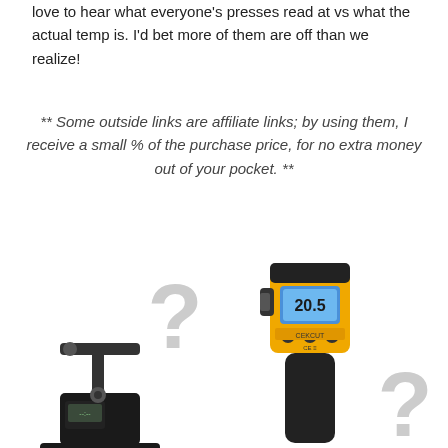love to hear what everyone's presses read at vs what the actual temp is. I'd bet more of them are off than we realize!
** Some outside links are affiliate links; by using them, I receive a small % of the purchase price, for no extra money out of your pocket. **
[Figure (photo): A heat press machine on the lower left with a large grey question mark symbol to its right, and a yellow and black infrared thermometer gun in the center-right with another grey question mark to the far right.]